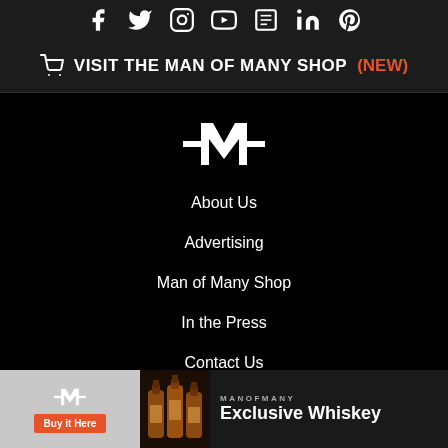[Figure (other): Row of social media icons: Facebook, Twitter, Instagram, YouTube, Google News, LinkedIn, Pinterest]
🛒 VISIT THE MAN OF MANY SHOP (NEW)
[Figure (logo): Man of Many logo — stylized M with crossbars (white on black)]
About Us
Advertising
Man of Many Shop
In the Press
Contact Us
Editorial Policy
Privacy Policy
[Figure (infographic): Ad banner: Man of Many exclusive whiskey advertisement with logo, Buy It Here orange button, whiskey bottle images, and text MANOFMANY Exclusive Whiskey]